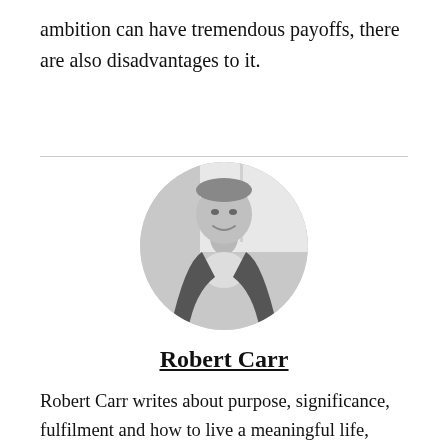ambition can have tremendous payoffs, there are also disadvantages to it.
[Figure (photo): Circular black-and-white headshot of Robert Carr, a man in a dark blazer and light shirt, smiling.]
Robert Carr
Robert Carr writes about purpose, significance, fulfilment and how to live a meaningful life, curious about how he got here? Check out his story.